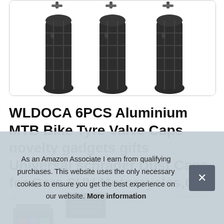[Figure (photo): Three black grenade-shaped tyre valve caps, dark metallic finish, shown from above against white background]
WLDOCA 6PCS Aluminium MTB Bike Tyre Valve Caps novelty gadgets gifts Universal schrader Dust Caps for Cars SUV Motorcycles,G
[Figure (screenshot): Row of four thumbnail images of the product from different angles, one showing product parameters]
As an Amazon Associate I earn from qualifying purchases. This website uses the only necessary cookies to ensure you get the best experience on our website. More information